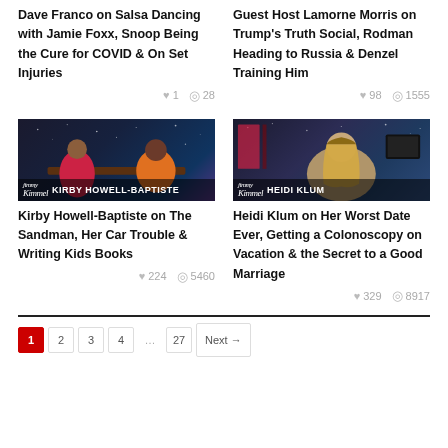Dave Franco on Salsa Dancing with Jamie Foxx, Snoop Being the Cure for COVID & On Set Injuries
♥ 1  👁 28
Guest Host Lamorne Morris on Trump's Truth Social, Rodman Heading to Russia & Denzel Training Him
♥ 98  👁 1555
[Figure (photo): Jimmy Kimmel Live thumbnail showing Kirby Howell-Baptiste on stage with name lower-third overlay]
Kirby Howell-Baptiste on The Sandman, Her Car Trouble & Writing Kids Books
♥ 224  👁 5460
[Figure (photo): Jimmy Kimmel Live thumbnail showing Heidi Klum with name lower-third overlay]
Heidi Klum on Her Worst Date Ever, Getting a Colonoscopy on Vacation & the Secret to a Good Marriage
♥ 329  👁 8917
1  2  3  4  …  27  Next →